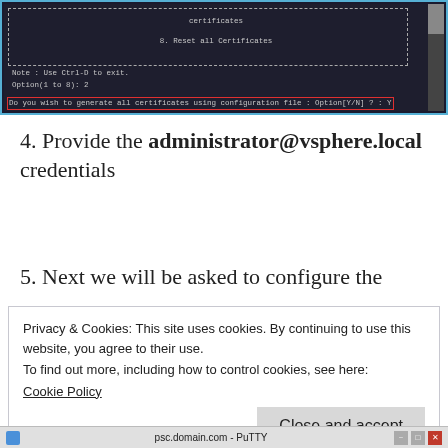[Figure (screenshot): Terminal window (PuTTY) showing certificate menu options including 'certificates' and '8. Reset all Certificates', with a note 'Use Ctrl-D to exit.', Option prompt, and a red-highlighted input line: 'Do you wish to generate all certificates using configuration file : Option[Y/N] ? : Y']
4. Provide the administrator@vsphere.local credentials
5. Next we will be asked to configure the
Privacy & Cookies: This site uses cookies. By continuing to use this website, you agree to their use.
To find out more, including how to control cookies, see here:
Cookie Policy
[Figure (screenshot): Windows taskbar showing PuTTY window titled 'psc.domain.com - PuTTY' with minimize, restore, and close buttons]